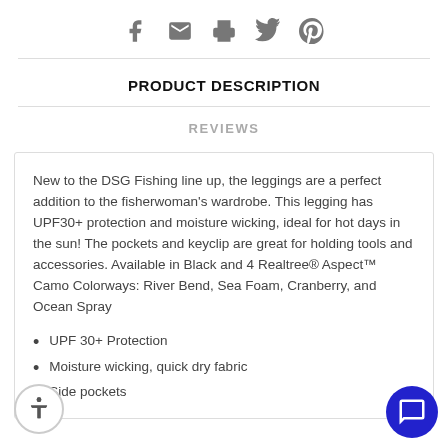[Figure (other): Social share icons: Facebook, Email, Print, Twitter, Pinterest]
PRODUCT DESCRIPTION
REVIEWS
New to the DSG Fishing line up, the leggings are a perfect addition to the fisherwoman’s wardrobe. This legging has UPF30+ protection and moisture wicking, ideal for hot days in the sun! The pockets and keyclip are great for holding tools and accessories. Available in Black and 4 Realtree® Aspect™ Camo Colorways: River Bend, Sea Foam, Cranberry, and Ocean Spray
UPF 30+ Protection
Moisture wicking, quick dry fabric
Side pockets